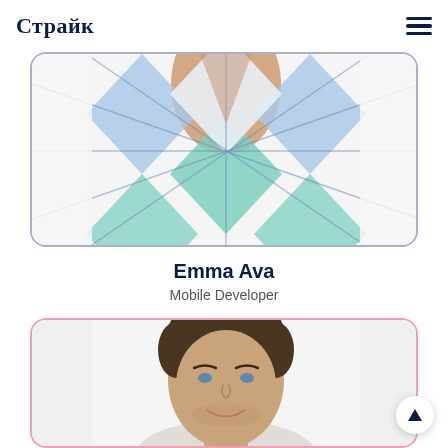Страйк
[Figure (photo): Cropped photo of a person wearing an argyle patterned sweater vest in blue, teal and white, inside a card with rounded corners and gray border]
Emma Ava
Mobile Developer
[Figure (photo): Photo of a young man with short brown hair smiling, shown from shoulders up against a light gray background, inside a card with rounded corners and pink border]